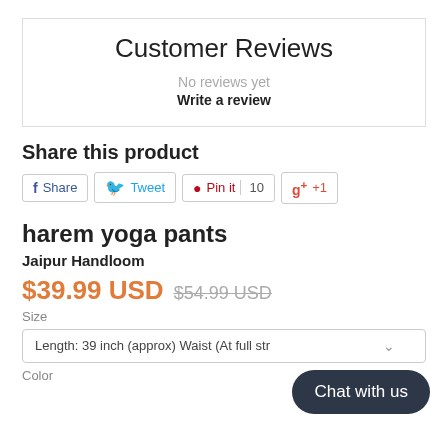Customer Reviews
No reviews yet
Write a review
Share this product
f Share   Tweet   Pin it  10   g+  +1
harem yoga pants
Jaipur Handloom
$39.99 USD  $54.99 USD
Size
Length: 39 inch (approx) Waist (At full str…
Color
Chat with us